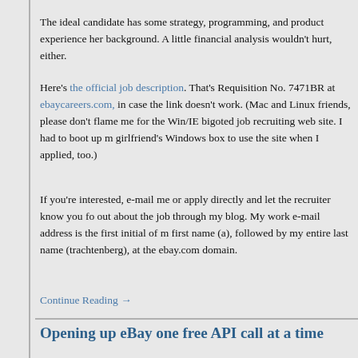The ideal candidate has some strategy, programming, and product experience her background. A little financial analysis wouldn't hurt, either.
Here's the official job description. That's Requisition No. 7471BR at ebaycareers.com, in case the link doesn't work. (Mac and Linux friends, please don't flame me for the Win/IE bigoted job recruiting web site. I had to boot up my girlfriend's Windows box to use the site when I applied, too.)
If you're interested, e-mail me or apply directly and let the recruiter know you found out about the job through my blog. My work e-mail address is the first initial of my first name (a), followed by my entire last name (trachtenberg), at the ebay.com domain.
Continue Reading →
Opening up eBay one free API call at a time
November 14th, 2005 • Adam Trachtenberg • 2 comments • Related • Filed Under
I am extremely happy that today eBay made all of our API calls completely free of charge. You can get 10,000 API calls a month just by signing up, and when you pass a relatively painless evaluation, we'll increase that limit to 1.5 million calls per day. Now that's a call limit you can be proud of.
For a long time, eBay's offered up our API for both commercial and non-commercial usage, but we've always hampered ourselves by charging for access. The fees...